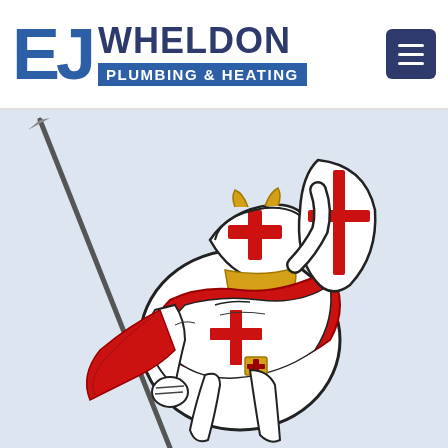[Figure (logo): EJ Wheldon Plumbing & Heating company logo with large blue EJ letters and blue banner with white text]
[Figure (illustration): A Crusader knight warrior dressed in white robes with red St George crosses on helmet and shield, holding a lance and shield, running forward. Bold illustrative style in red, black, and white on light blue background.]